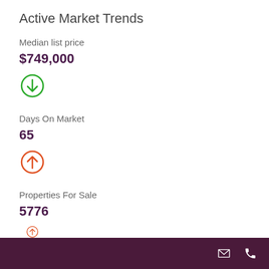Active Market Trends
Median list price
$749,000
[Figure (infographic): Green circle with downward arrow icon indicating decrease]
Days On Market
65
[Figure (infographic): Red/orange circle with upward arrow icon indicating increase]
Properties For Sale
5776
[Figure (infographic): Red/orange circle with upward arrow icon (partially visible)]
Footer bar with email and phone icons